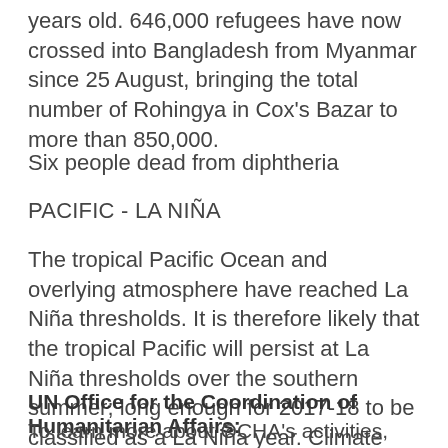years old. 646,000 refugees have now crossed into Bangladesh from Myanmar since 25 August, bringing the total number of Rohingya in Cox's Bazar to more than 850,000.
Six people dead from diphtheria
PACIFIC - LA NIÑA
The tropical Pacific Ocean and overlying atmosphere have reached La Niña thresholds. It is therefore likely that the tropical Pacific will persist at La Niña thresholds over the southern summer; long enough for 2017-18 to be classified as a La Niña year. Climate models anticipate a short-lived event. Most models suggest a transition back to neutral conditions by April 2018.
UN Office for the Coordination of Humanitarian Affairs:
To learn more about OCHA's activities, please visit https://www.unocha.org/